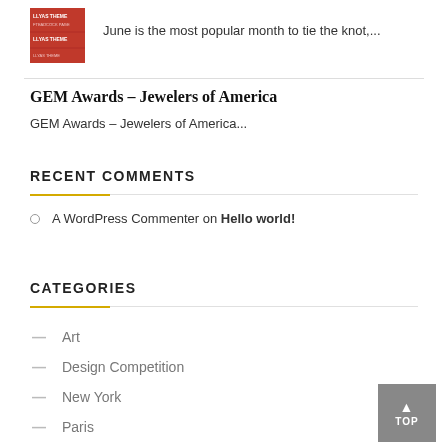[Figure (photo): Small red thumbnail image with white text overlay showing blog/theme branding]
June is the most popular month to tie the knot,...
GEM Awards – Jewelers of America
GEM Awards – Jewelers of America...
RECENT COMMENTS
A WordPress Commenter on Hello world!
CATEGORIES
Art
Design Competition
New York
Paris
Uncategorized